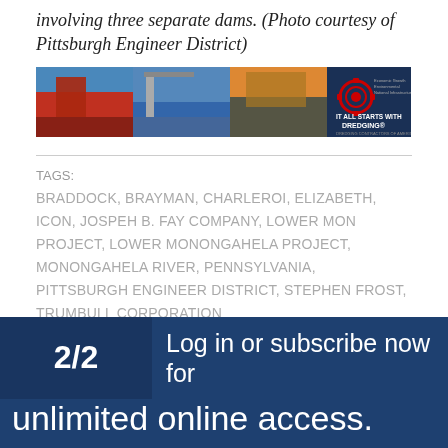involving three separate dams. (Photo courtesy of Pittsburgh Engineer District)
[Figure (photo): Advertisement banner for a dredging company featuring maritime/dredging photos and the slogan IT ALL STARTS WITH DREDGING]
TAGS:
BRADDOCK, BRAYMAN, CHARLEROI, ELIZABETH, ICON, JOSPEH B. FAY COMPANY, LOWER MON PROJECT, LOWER MONONGAHELA PROJECT, MONONGAHELA RIVER, PENNSYLVANIA, PITTSBURGH ENGINEER DISTRICT, STEPHEN FROST, TRUMBULL CORPORATION
2/2   Log in or subscribe now for unlimited online access.